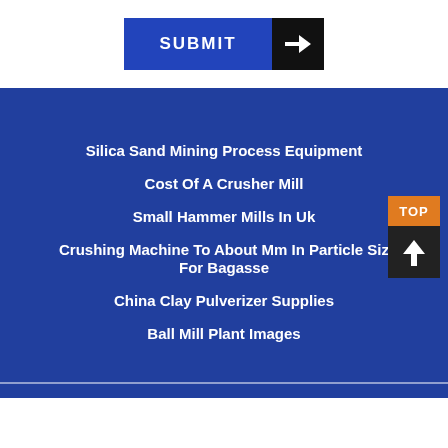[Figure (other): Submit button with blue background and arrow icon on black background]
Silica Sand Mining Process Equipment
Cost Of A Crusher Mill
Small Hammer Mills In Uk
Crushing Machine To About Mm In Particle Size For Bagasse
China Clay Pulverizer Supplies
Ball Mill Plant Images